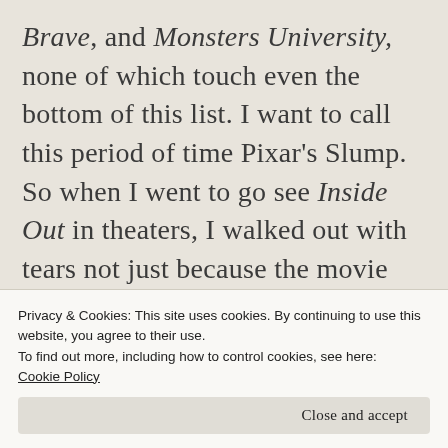Brave, and Monsters University, none of which touch even the bottom of this list. I want to call this period of time Pixar's Slump. So when I went to go see Inside Out in theaters, I walked out with tears not just because the movie was emotionally satisfying (in more ways than one), but also because I was so happy that Pixar's Slump was over.
[Figure (other): A partial advertisement banner showing a green bar element on the left and what appears to be a food/recipe website screenshot on the right.]
Privacy & Cookies: This site uses cookies. By continuing to use this website, you agree to their use.
To find out more, including how to control cookies, see here:
Cookie Policy
Close and accept